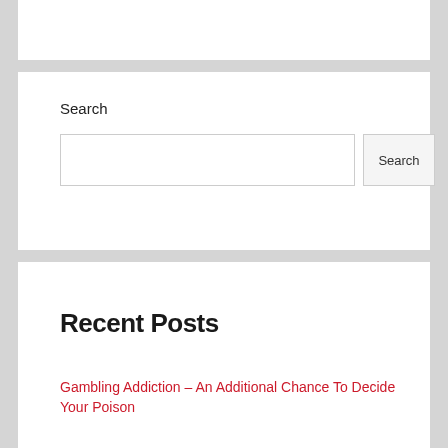Search
[Figure (screenshot): Search input box with a Search button]
Recent Posts
Gambling Addiction – An Additional Chance To Decide Your Poison
Mengapa Sering Bermain Di Kasino Online?
Diskusi Tentang Tepi Rumah Dalam Perjudian